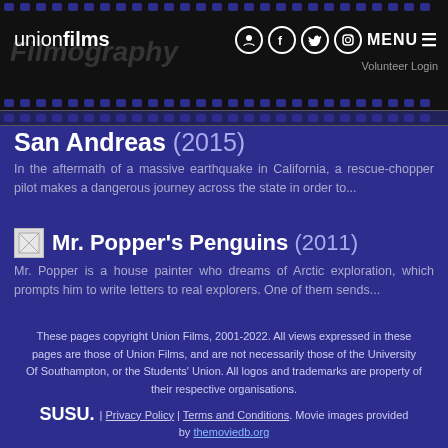union films | MENU | Volunteer Login
San Andreas (2015)
In the aftermath of a massive earthquake in California, a rescue-chopper pilot makes a dangerous journey across the state in order to...
Mr. Popper's Penguins (2011)
Mr. Popper is a house painter who dreams of Arctic exploration, which prompts him to write letters to real explorers. One of them sends...
These pages copyright Union Films, 2001-2022. All views expressed in these pages are those of Union Films, and are not necessarily those of the University Of Southampton, or the Students' Union. All logos and trademarks are property of their respective organisations.
SUSU. | Privacy Policy | Terms and Conditions. Movie images provided by themoviedb.org